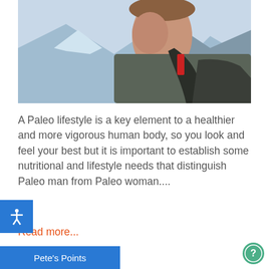[Figure (photo): A man from behind with a backpack, mountains and sky visible in background.]
A Paleo lifestyle is a key element to a healthier and more vigorous human body, so you look and feel your best but it is important to establish some nutritional and lifestyle needs that distinguish Paleo man from Paleo woman....
Read more...